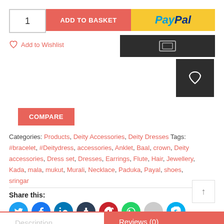[Figure (screenshot): E-commerce product page UI with quantity input, Add to Basket button, PayPal button, dark payment button, wishlist heart button, Compare button, product categories and tags, social share icons row, and bottom Description/Reviews tabs]
Categories: Products, Deity Accessories, Deity Dresses Tags: #bracelet, #Deitydress, accessories, Anklet, Baal, crown, Deity accessories, Dress set, Dresses, Earrings, Flute, Hair, Jewellery, Kada, mala, mukut, Murali, Necklace, Paduka, Payal, shoes, sringar
Share this:
Description   Reviews (0)